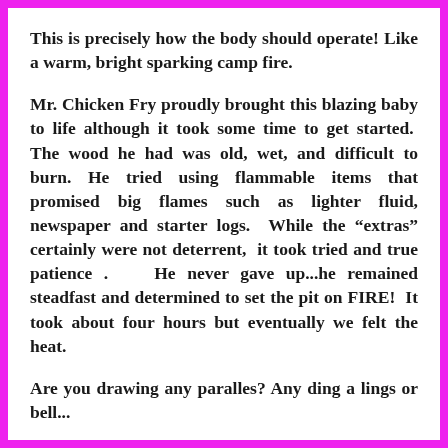This is precisely how the body should operate! Like a warm, bright sparking camp fire.
Mr. Chicken Fry proudly brought this blazing baby to life although it took some time to get started.  The wood he had was old, wet, and difficult to burn. He tried using flammable items that promised big flames such as lighter fluid, newspaper and starter logs.  While the “extras” certainly were not deterrent,  it took tried and true patience .   He never gave up...he remained steadfast and determined to set the pit on FIRE!  It took about four hours but eventually we felt the heat.
Are you drawing any paralles? Any ding a lings or bell...